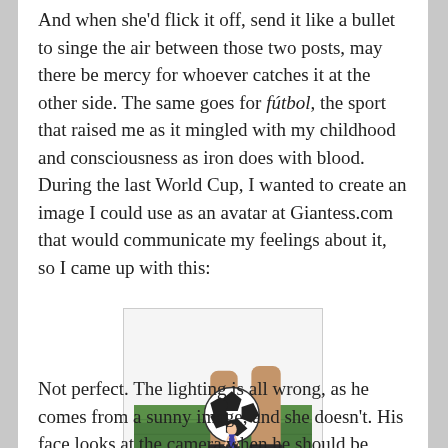And when she'd flick it off, send it like a bullet to singe the air between those two posts, may there be mercy for whoever catches it at the other side. The same goes for fútbol, the sport that raised me as it mingled with my childhood and consciousness as iron does with blood. During the last World Cup, I wanted to create an image I could use as an avatar at Giantess.com that would communicate my feelings about it, so I came up with this:
[Figure (photo): A composite image showing a soccer ball and a woman's legs in high heels on a grass field, with a small person appearing between the legs near the ball.]
Not perfect. The lighting is all wrong, as he comes from a sunny image, and she doesn't. His face looks at the camera when he should be